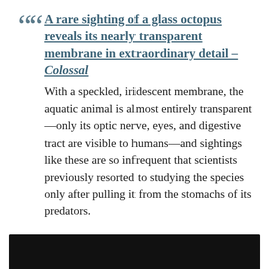A rare sighting of a glass octopus reveals its nearly transparent membrane in extraordinary detail – Colossal
With a speckled, iridescent membrane, the aquatic animal is almost entirely transparent—only its optic nerve, eyes, and digestive tract are visible to humans—and sightings like these are so infrequent that scientists previously resorted to studying the species only after pulling it from the stomachs of its predators.
[Figure (photo): Black rectangular image at the bottom of the page, partially visible, likely showing the glass octopus or related imagery.]